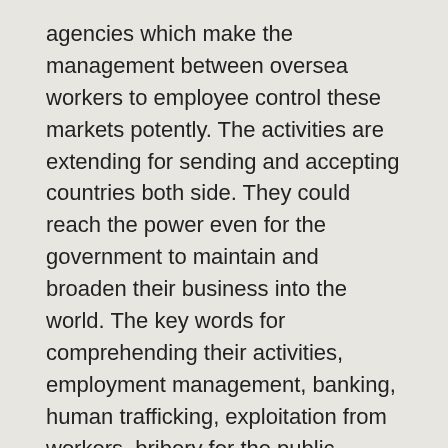agencies which make the management between oversea workers to employee control these markets potently. The activities are extending for sending and accepting countries both side. They could reach the power even for the government to maintain and broaden their business into the world. The key words for comprehending their activities, employment management, banking, human trafficking, exploitation from workers, bribery for the public sectors and so on.
The Japanese labor market is far from the international situation mentioned above. What could be happened in the near future as Japanese government start to accept the migrant workers? This is a report particularized for the field of domestic helper and caregiver.